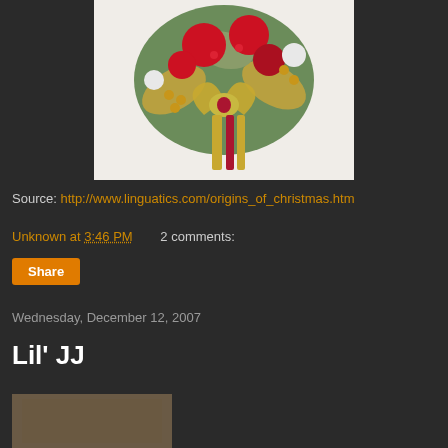[Figure (photo): Christmas floral arrangement with red poinsettias, gold and red ribbons, white flowers, and gold/red berries against a white background]
Source: http://www.linguatics.com/origins_of_christmas.htm
Unknown at 3:46 PM    2 comments:
Share
Wednesday, December 12, 2007
Lil' JJ
[Figure (photo): Partially visible photo at bottom of page]